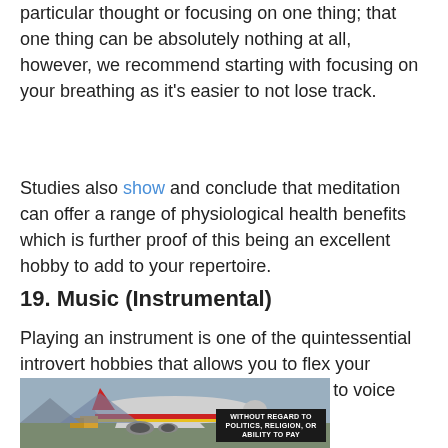particular thought or focusing on one thing; that one thing can be absolutely nothing at all, however, we recommend starting with focusing on your breathing as it's easier to not lose track.
Studies also show and conclude that meditation can offer a range of physiological health benefits which is further proof of this being an excellent hobby to add to your repertoire.
19. Music (Instrumental)
Playing an instrument is one of the quintessential introvert hobbies that allows you to flex your creativity and can also tame your need to voice your emotions to someone else.
[Figure (photo): Photo of cargo airplane being loaded, with an advertisement overlay showing 'WITHOUT REGARD TO POLITICS, RELIGION, OR ABILITY TO PAY' text on a dark badge in the bottom right corner.]